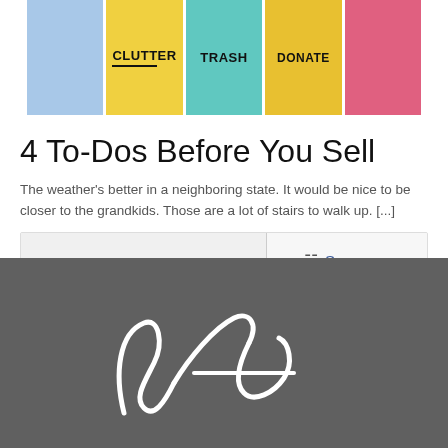[Figure (photo): Colorful sticky notes arranged side by side showing partial words: CLUTTER, TRASH, and partially visible text on the right. Notes are in blue, yellow, teal, yellow, and pink/red colors.]
4 To-Dos Before You Sell
The weather's better in a neighboring state. It would be nice to be closer to the grandkids. Those are a lot of stairs to walk up. [...]
See more
[Figure (illustration): White cursive/script signature or logo on a dark gray background, partially visible at the bottom of the page.]